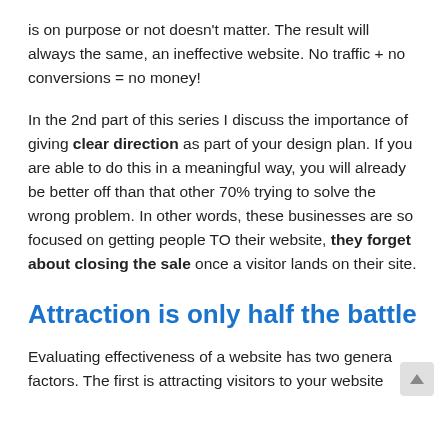is on purpose or not doesn't matter. The result will always the same, an ineffective website. No traffic + no conversions = no money!
In the 2nd part of this series I discuss the importance of giving clear direction as part of your design plan. If you are able to do this in a meaningful way, you will already be better off than that other 70% trying to solve the wrong problem. In other words, these businesses are so focused on getting people TO their website, they forget about closing the sale once a visitor lands on their site.
Attraction is only half the battle
Evaluating effectiveness of a website has two general factors. The first is attracting visitors to your website